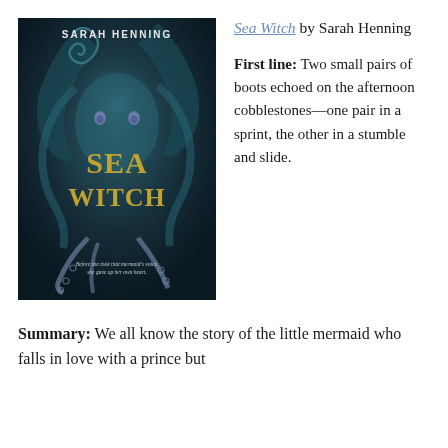[Figure (illustration): Book cover of 'Sea Witch' by Sarah Henning. Dark teal/navy background featuring a mysterious sea witch figure with flowing hair, tentacles, and glowing eyes. Title 'SEA WITCH' in gold lettering, author name 'SARAH HENNING' at top in white. Tagline at bottom: 'Before she took that mermaid's voice, she gave up her own heart.']
Sea Witch by Sarah Henning
First line: Two small pairs of boots echoed on the afternoon cobblestones—one pair in a sprint, the other in a stumble and slide.
Summary: We all know the story of the little mermaid who falls in love with a prince but